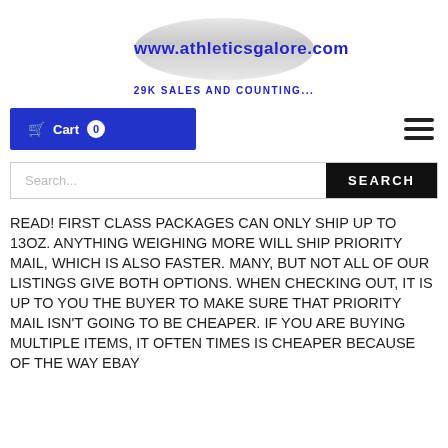[Figure (logo): Oval logo with www.athleticsgalore.com text and tagline 29K SALES AND COUNTING...]
[Figure (screenshot): Navigation bar with Cart 0 button on left and hamburger menu on right]
[Figure (screenshot): Search bar with Search... placeholder and SEARCH button]
READ! FIRST CLASS PACKAGES CAN ONLY SHIP UP TO 13OZ. ANYTHING WEIGHING MORE WILL SHIP PRIORITY MAIL, WHICH IS ALSO FASTER. MANY, BUT NOT ALL OF OUR LISTINGS GIVE BOTH OPTIONS. WHEN CHECKING OUT, IT IS UP TO YOU THE BUYER TO MAKE SURE THAT PRIORITY MAIL ISN'T GOING TO BE CHEAPER. IF YOU ARE BUYING MULTIPLE ITEMS, IT OFTEN TIMES IS CHEAPER BECAUSE OF THE WAY EBAY...